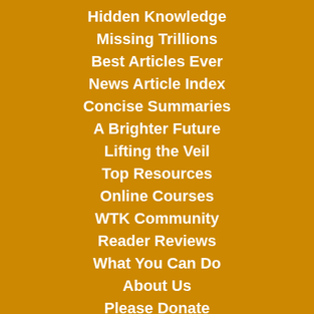Hidden Knowledge
Missing Trillions
Best Articles Ever
News Article Index
Concise Summaries
A Brighter Future
Lifting the Veil
Top Resources
Online Courses
WTK Community
Reader Reviews
What You Can Do
About Us
Please Donate